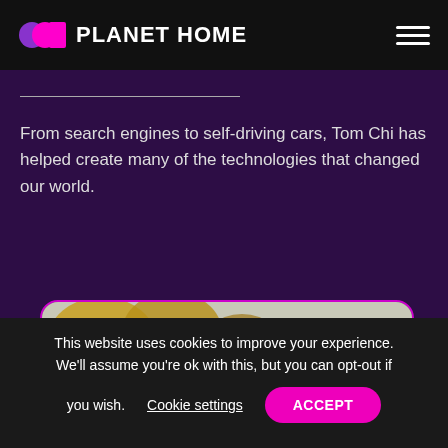PLANET HOME
From search engines to self-driving cars, Tom Chi has helped create many of the technologies that changed our world.
[Figure (photo): Portrait photograph of Tom Chi, a man smiling outdoors with autumn foliage in the background, shown within a rounded rectangle frame with a magenta border.]
This website uses cookies to improve your experience. We'll assume you're ok with this, but you can opt-out if you wish. Cookie settings ACCEPT